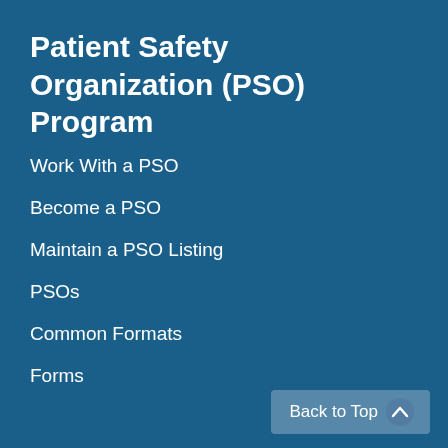Patient Safety Organization (PSO) Program
Work With a PSO
Become a PSO
Maintain a PSO Listing
PSOs
Common Formats
Forms
Back to Top